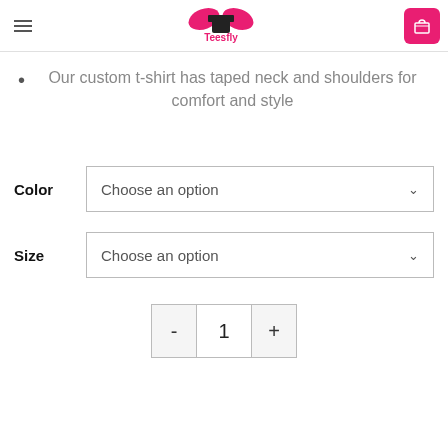Teesfly
Our custom t-shirt has taped neck and shoulders for comfort and style
Color  Choose an option
Size  Choose an option
- 1 +